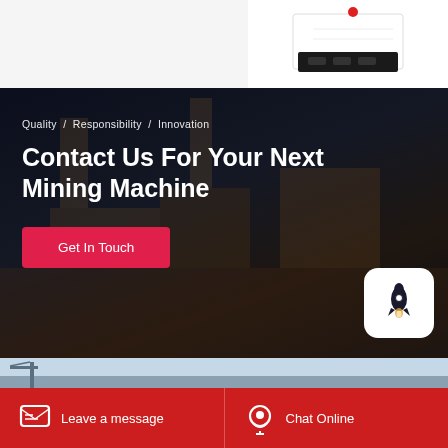[Figure (photo): Top white section with partial product image (mining machine, white/black device) on right side]
Quality  /  Responsibility  /  Innovation
Contact Us For Your Next Mining Machine
Get In Touch
[Figure (illustration): Rocket launch icon in white rounded square box]
[Figure (photo): Partial outdoor photo strip showing sky and equipment]
Leave a message
Chat Online